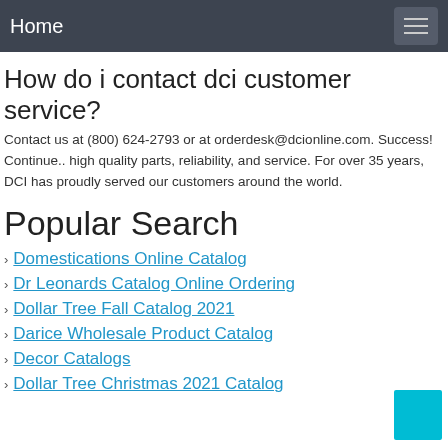Home
How do i contact dci customer service?
Contact us at (800) 624-2793 or at orderdesk@dcionline.com. Success! Continue.. high quality parts, reliability, and service. For over 35 years, DCI has proudly served our customers around the world.
Popular Search
Domestications Online Catalog
Dr Leonards Catalog Online Ordering
Dollar Tree Fall Catalog 2021
Darice Wholesale Product Catalog
Decor Catalogs
Dollar Tree Christmas 2021 Catalog